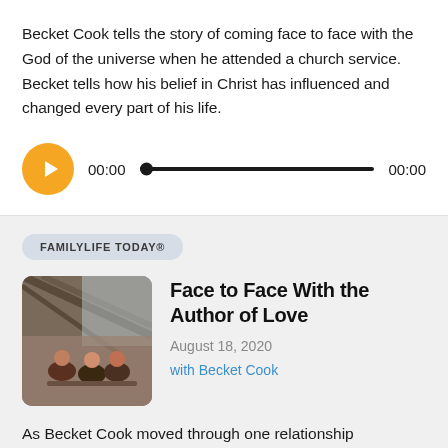Becket Cook tells the story of coming face to face with the God of the universe when he attended a church service. Becket tells how his belief in Christ has influenced and changed every part of his life.
[Figure (other): Audio player with orange play button, progress bar, and time stamps showing 00:00 at start and end]
FAMILYLIFE TODAY®
[Figure (photo): Photo of people sitting in a modern indoor space with wooden ceiling beams]
Face to Face With the Author of Love
August 18, 2020
with Becket Cook
As Becket Cook moved through one relationship